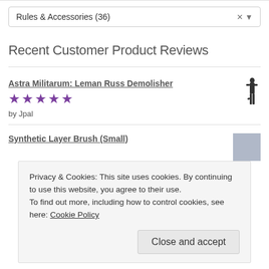Rules & Accessories  (36)
Recent Customer Product Reviews
Astra Militarum: Leman Russ Demolisher ★★★★★ by Jpal
Synthetic Layer Brush (Small)
Privacy & Cookies: This site uses cookies. By continuing to use this website, you agree to their use. To find out more, including how to control cookies, see here: Cookie Policy
Close and accept